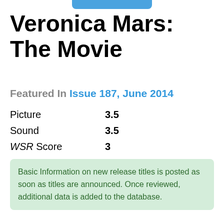Veronica Mars: The Movie
Featured In Issue 187, June 2014
Picture 3.5
Sound 3.5
WSR Score 3
Basic Information on new release titles is posted as soon as titles are announced. Once reviewed, additional data is added to the database.
(Studio/Distributor): Warner Home
Based on Rob Thomas' television series, Veronica Mars stars Kristen Bell as a former